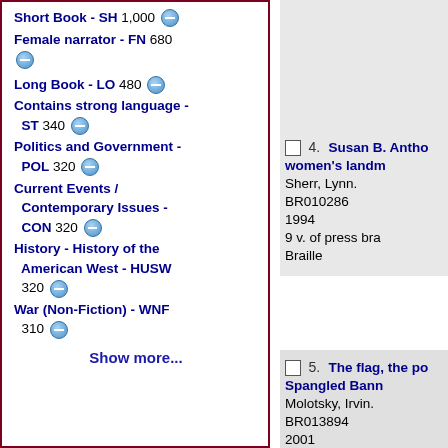Short Book - SH 1,000
Female narrator - FN 680
Long Book - LO 480
Contains strong language - ST 340
Politics and Government - POL 320
Current Events / Contemporary Issues - CON 320
History - History of the American West - HUSW 320
War (Non-Fiction) - WNF 310
Show more...
4. Susan B. Antho... women's landm...
Sherr, Lynn.
BR010286
1994
9 v. of press bra...
Braille
5. The flag, the po... Spangled Bann...
Molotsky, Irvin.
BR013894
2001
2 v. of press bra...